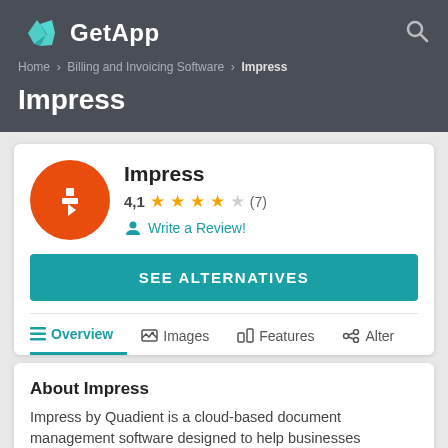GetApp
Home > Billing and Invoicing Software > Impress
Impress
Impress
4,1 ★★★★☆ (7)
Write a Review!
SEE ALTERNATIVES
Overview  Images  Features  Alter
About Impress
Impress by Quadient is a cloud-based document management software designed to help businesses